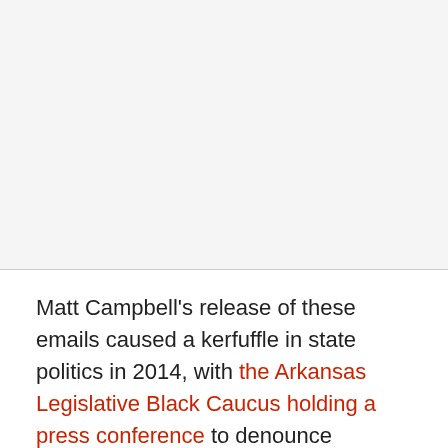[Figure (other): Blank light gray area occupying the top portion of the page, separated by a horizontal line.]
Matt Campbell's release of these emails caused a kerfuffle in state politics in 2014, with the Arkansas Legislative Black Caucus holding a press conference to denounce Rutledge. The controversy received no national attention at the time. Since then, Rutledge's